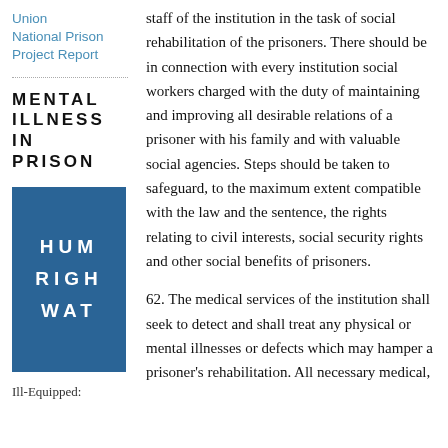Union
National Prison
Project Report
MENTAL ILLNESS IN PRISON
[Figure (logo): Blue box with partial text HUM / RIGH / WAT in white bold letters, representing Human Rights Watch logo]
Ill-Equipped:
staff of the institution in the task of social rehabilitation of the prisoners. There should be in connection with every institution social workers charged with the duty of maintaining and improving all desirable relations of a prisoner with his family and with valuable social agencies. Steps should be taken to safeguard, to the maximum extent compatible with the law and the sentence, the rights relating to civil interests, social security rights and other social benefits of prisoners.
62. The medical services of the institution shall seek to detect and shall treat any physical or mental illnesses or defects which may hamper a prisoner's rehabilitation. All necessary medical,